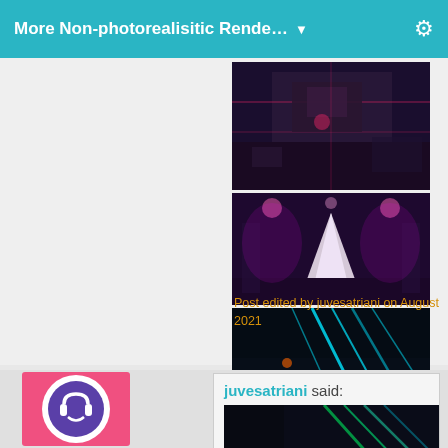More Non-photorealisitic Rende...
[Figure (screenshot): Three stacked game/render screenshots showing cyberpunk-style 3D environments with neon lighting: top image shows an aerial view of a dark urban scene with red lighting, middle image shows a concert hall-like space with pink/magenta neon lights and a bright central cone, bottom image shows a dark scene with teal/cyan neon light streaks.]
Post edited by juvesatriani on August 2021
[Figure (illustration): User avatar: pink rectangular background with a circular purple icon containing a stylized white headphone/emoji symbol]
juvesatriani said:
[Figure (screenshot): Dark screenshot showing green/teal light streaks on a dark background, partial view of a render]